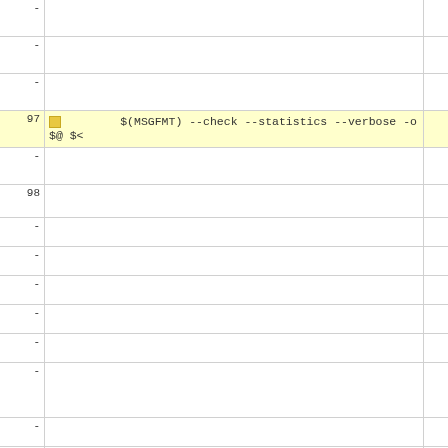| old | code | new |
| --- | --- | --- |
| - |  | 80 |
| - |  | 81 |
| - |  | 82 |
| 97 | $(MSGFMT) --check --statistics --verbose -o $@ $< | 83 |
| - |  | 84 |
| 98 |  | 85 |
| - |  | 86 |
| - |  | 87 |
| - |  | 88 |
| - |  | 89 |
| - |  | 90 |
| - |  | 91 |
| - |  | 92 |
| - |  | 93 |
| - |  | 94 |